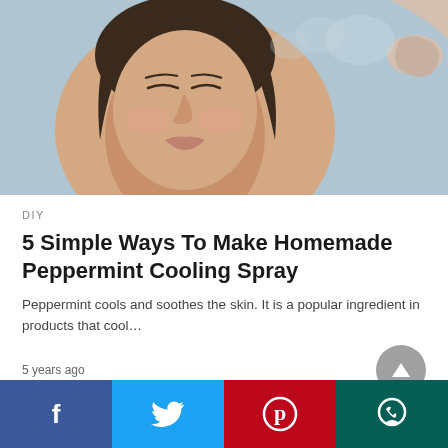[Figure (photo): Woman with eyes closed, tilting head back slightly, hand with spray bottle visible at upper right, blue-grey background suggesting a cooling mist spray]
DIY
5 Simple Ways To Make Homemade Peppermint Cooling Spray
Peppermint cools and soothes the skin. It is a popular ingredient in products that cool…
5 years ago
[Figure (infographic): Social media share bar with four buttons: Facebook (blue), Twitter (light blue), Pinterest (red), WhatsApp (dark teal)]